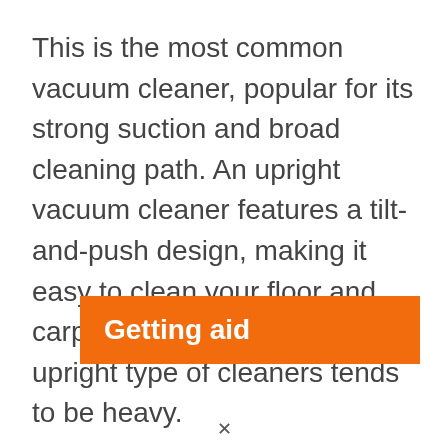This is the most common vacuum cleaner, popular for its strong suction and broad cleaning path. An upright vacuum cleaner features a tilt-and-push design, making it easy to clean your floor and carpets. Unfortunately, the upright type of cleaners tends to be heavy.
Getting aid